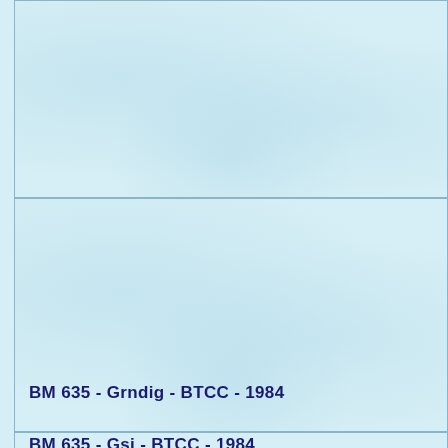BM 635 - Grndig - BTCC - 1984
BM 635 - Gsi - BTCC - 1984